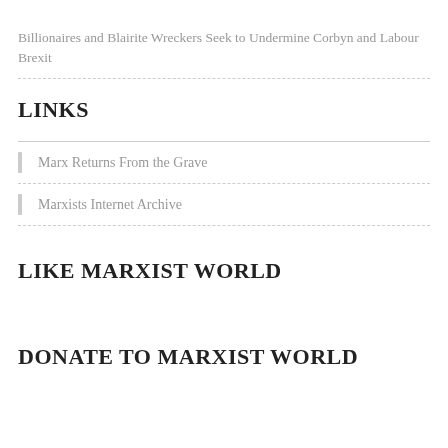Billionaires and Blairite Wreckers Seek to Undermine Corbyn and Labour Brexit
LINKS
Marx Returns From the Grave
Marxists Internet Archive
LIKE MARXIST WORLD
DONATE TO MARXIST WORLD